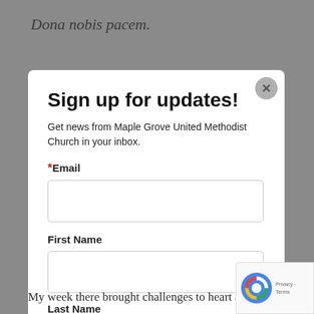Dona nobis pacem.
Sign up for updates!
Get news from Maple Grove United Methodist Church in your inbox.
*Email
First Name
Last Name
My week there brought challenges to heart and